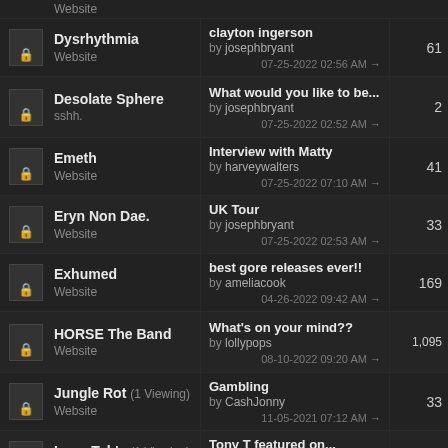| Band | Latest Thread | Count |
| --- | --- | --- |
| Dysrhythmia
Website | clayton ingerson
by josephbryant
07-25-2022 02:56 AM | 61 |
| Desolate Sphere
sshh. | What would you like to be...
by josephbryant
07-25-2022 02:52 AM | 2 |
| Emeth
Website | Interview with Matty
by harveywalters
07-25-2022 07:10 AM | 41 |
| Eryn Non Dae.
Website | UK Tour
by josephbryant
07-25-2022 02:53 AM | 33 |
| Exhumed
Website | best gore releases ever!!
by ameliacook
04-26-2022 09:42 AM | 169 |
| HORSE The Band
Website | What's on your mind??
by lollypops
08-10-2022 09:20 AM | 1,095 |
| Jungle Rot (1 Viewing)
Website | Gambling
by CashJonny
11-05-2021 07:12 AM | 33 |
| Leng Tch'e (1 Viewing)
Website | Tony T featured on...
by Roxyyy03
07-14-2020 04:44 AM | 84 |
| Mantar | Any info about new album? |  |